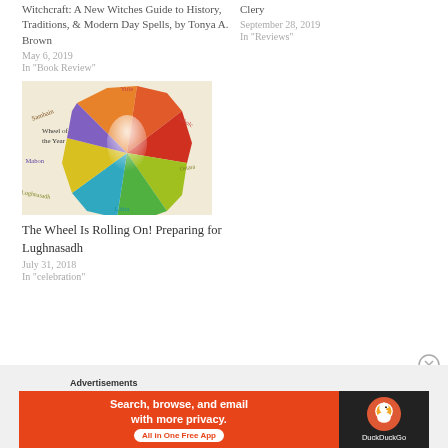Witchcraft: A New Witches Guide to History, Traditions, & Modern Day Spells, by Tonya A. Brown
May 6, 2019
In "Book Review"
Clery
September 28, 2019
In "Reviews"
[Figure (illustration): Wheel of the Year diagram showing eight sabbats in a colorful octagonal wheel: Yule, Imbolc, Ostara, Beltane, Litha, Lughnasadh, Mabon, Samhain — each section in different colors]
The Wheel Is Rolling On! Preparing for Lughnasadh
July 31, 2018
In "celebration"
Advertisements
[Figure (screenshot): DuckDuckGo advertisement banner: orange left side with text 'Search, browse, and email with more privacy. All in One Free App', dark right side with DuckDuckGo duck logo and brand name]